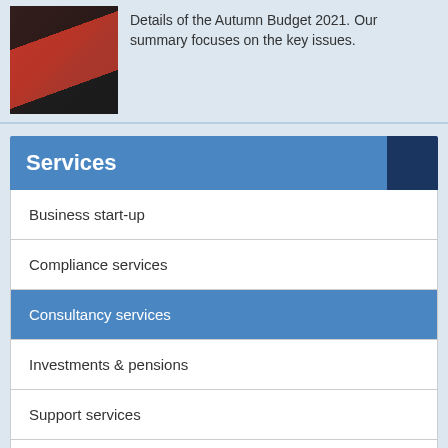[Figure (photo): Person in black suit holding a black briefcase against a red background]
Details of the Autumn Budget 2021. Our summary focuses on the key issues.
Services
Business start-up
Compliance services
Consultancy services
Investments & pensions
Support services
Taxation